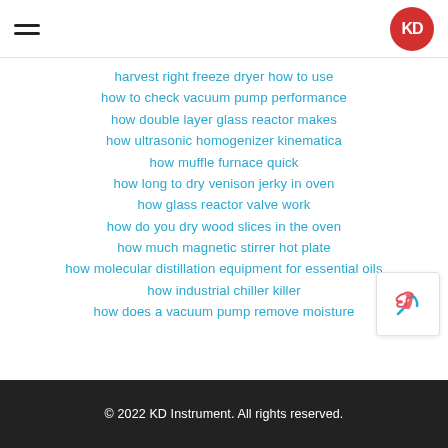KD Instrument
harvest right freeze dryer how to use
how to check vacuum pump performance
how double layer glass reactor makes
how ultrasonic homogenizer kinematica
how muffle furnace quick
how long to dry venison jerky in oven
how glass reactor valve work
how do you dry wood slices in the oven
how much magnetic stirrer hot plate
how molecular distillation equipment for essential oils
how industrial chiller killer
how does a vacuum pump remove moisture
© 2022 KD Instrument. All rights reserved.